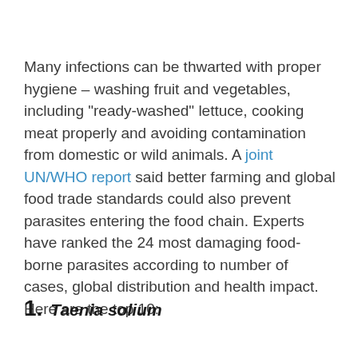Many infections can be thwarted with proper hygiene – washing fruit and vegetables, including "ready-washed" lettuce, cooking meat properly and avoiding contamination from domestic or wild animals. A joint UN/WHO report said better farming and global food trade standards could also prevent parasites entering the food chain. Experts have ranked the 24 most damaging food-borne parasites according to number of cases, global distribution and health impact. Here are the top 10:
1. Taenia solium